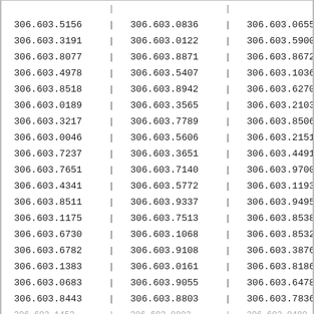| 306.603.5156 | | | 306.603.0836 | | | 306.603.0655 | | |
| 306.603.3191 | | | 306.603.0122 | | | 306.603.5900 | | |
| 306.603.8077 | | | 306.603.8871 | | | 306.603.8672 | | |
| 306.603.4978 | | | 306.603.5407 | | | 306.603.1036 | | |
| 306.603.8518 | | | 306.603.8942 | | | 306.603.6270 | | |
| 306.603.0189 | | | 306.603.3565 | | | 306.603.2103 | | |
| 306.603.3217 | | | 306.603.7789 | | | 306.603.8506 | | |
| 306.603.0046 | | | 306.603.5606 | | | 306.603.2151 | | |
| 306.603.7237 | | | 306.603.3651 | | | 306.603.4491 | | |
| 306.603.7651 | | | 306.603.7140 | | | 306.603.9700 | | |
| 306.603.4341 | | | 306.603.5772 | | | 306.603.1193 | | |
| 306.603.8511 | | | 306.603.9337 | | | 306.603.9495 | | |
| 306.603.1175 | | | 306.603.7513 | | | 306.603.8538 | | |
| 306.603.6730 | | | 306.603.1068 | | | 306.603.8532 | | |
| 306.603.6782 | | | 306.603.9108 | | | 306.603.3876 | | |
| 306.603.1383 | | | 306.603.0161 | | | 306.603.8186 | | |
| 306.603.0683 | | | 306.603.9055 | | | 306.603.6478 | | |
| 306.603.8443 | | | 306.603.8803 | | | 306.603.7836 | | |
| 306.603.1453 | | | 306.603.0803 | | | 306.603.0480 | | |